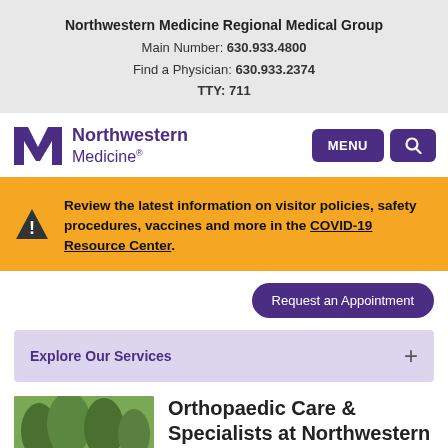Northwestern Medicine Regional Medical Group
Main Number: 630.933.4800
Find a Physician: 630.933.2374
TTY: 711
[Figure (logo): Northwestern Medicine logo with stylized NM monogram in purple and purple text]
Review the latest information on visitor policies, safety procedures, vaccines and more in the COVID-19 Resource Center.
Request an Appointment
Explore Our Services
Orthopaedic Care & Specialists at Northwestern Medicine